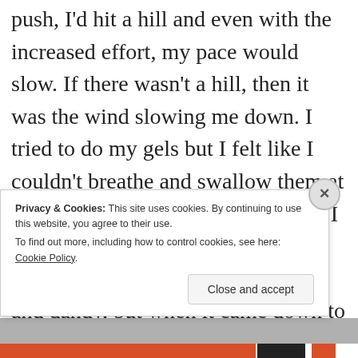push, I'd hit a hill and even with the increased effort, my pace would slow. If there wasn't a hill, then it was the wind slowing me down. I tried to do my gels but I felt like I couldn't breathe and swallow them at the same time. During my training, I had typically done my gels in between intervals which is all fine and dandy, but when it came down to it, I didn't feel comfortable
Privacy & Cookies: This site uses cookies. By continuing to use this website, you agree to their use. To find out more, including how to control cookies, see here: Cookie Policy
Close and accept